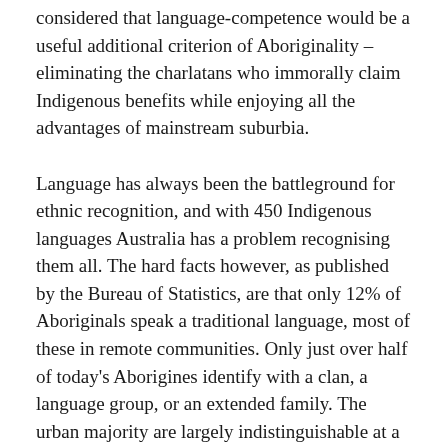considered that language-competence would be a useful additional criterion of Aboriginality – eliminating the charlatans who immorally claim Indigenous benefits while enjoying all the advantages of mainstream suburbia.
Language has always been the battleground for ethnic recognition, and with 450 Indigenous languages Australia has a problem recognising them all. The hard facts however, as published by the Bureau of Statistics, are that only 12% of Aboriginals speak a traditional language, most of these in remote communities. Only just over half of today's Aborigines identify with a clan, a language group, or an extended family. The urban majority are largely indistinguishable at a glance from